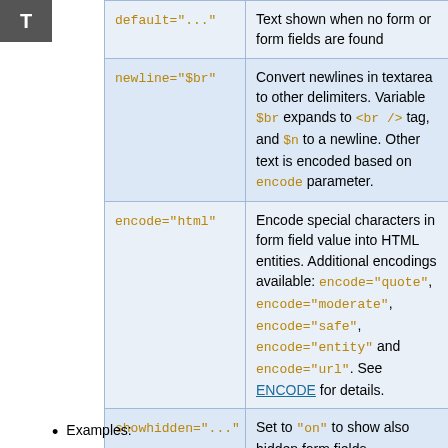| Parameter | Description | Default |
| --- | --- | --- |
| default="..." | Text shown when no form or form fields are found | "" |
| newline="$br" | Convert newlines in textarea to other delimiters. Variable $br expands to <br /> tag, and $n to a newline. Other text is encoded based on encode parameter. | "$br" if format is a TWiki table, else "\n" |
| encode="html" | Encode special characters in form field value into HTML entities. Additional encodings available: encode="quote", encode="moderate", encode="safe", encode="entity" and encode="url". See ENCODE for details. | "" (no encoding) |
| showhidden="..." | Set to "on" to show also hidden form fields. | "" |
Examples: